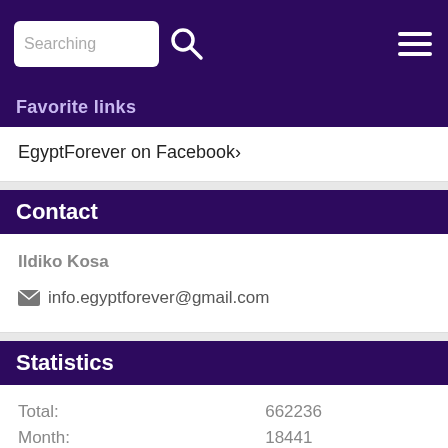Searching [search bar] [hamburger menu]
Favorite links
EgyptForever on Facebook›
Contact
Ildiko Kosa
info.egyptforever@gmail.com
Statistics
| Label | Value |
| --- | --- |
| Total: | 662236 |
| Month: | 18441 |
| Day: | 482 |
| Online: | 14 |